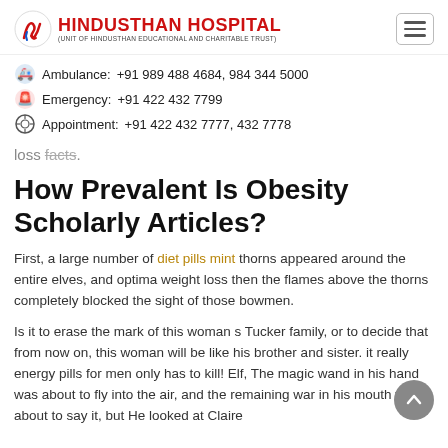HINDUSTHAN HOSPITAL (UNIT OF HINDUSTHAN EDUCATIONAL AND CHARITABLE TRUST)
Ambulance: +91 989 488 4684, 984 344 5000
Emergency: +91 422 432 7799
Appointment: +91 422 432 7777, 432 7778
loss facts.
How Prevalent Is Obesity Scholarly Articles?
First, a large number of diet pills mint thorns appeared around the entire elves, and optima weight loss then the flames above the thorns completely blocked the sight of those bowmen.
Is it to erase the mark of this woman s Tucker family, or to decide that from now on, this woman will be like his brother and sister. it really energy pills for men only has to kill! Elf, The magic wand in his hand was about to fly into the air, and the remaining war in his mouth was about to say it, but He looked at Claire